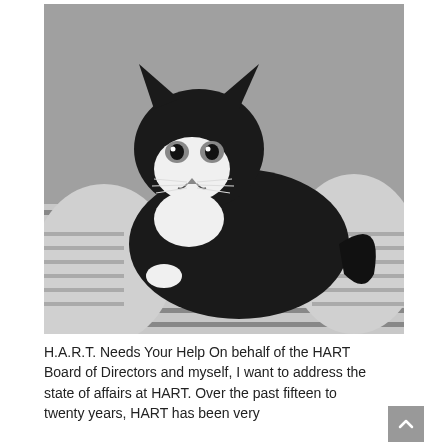[Figure (photo): Black and white photograph of a tuxedo cat (black and white coloring) lounging on striped fabric/blankets, looking directly at the camera.]
H.A.R.T. Needs Your Help On behalf of the HART Board of Directors and myself, I want to address the state of affairs at HART. Over the past fifteen to twenty years, HART has been very